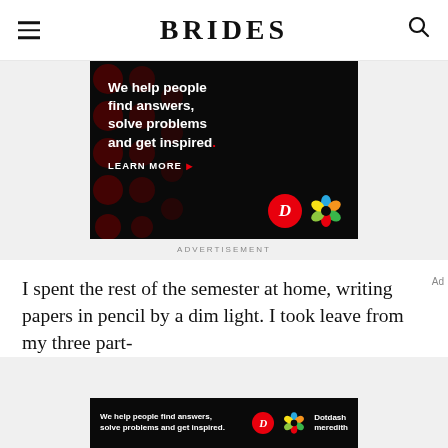BRIDES
[Figure (photo): Advertisement banner on black background with dark red dots pattern. Text reads: 'We help people find answers, solve problems and get inspired.' with 'LEARN MORE' call to action and Dotdash Meredith logos.]
ADVERTISEMENT
I spent the rest of the semester at home, writing papers in pencil by a dim light. I took leave from my three part-
[Figure (photo): Bottom sticky advertisement bar with Dotdash Meredith branding on black background.]